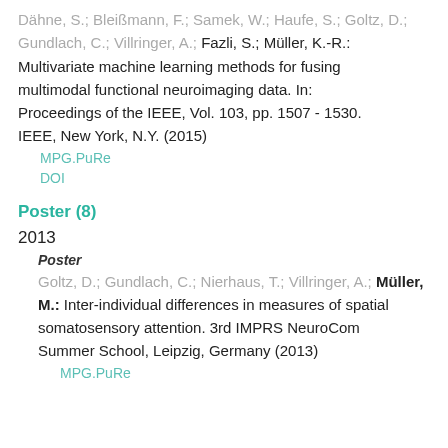Dähne, S.; Bleißmann, F.; Samek, W.; Haufe, S.; Goltz, D.; Gundlach, C.; Villringer, A.; Fazli, S.; Müller, K.-R.: Multivariate machine learning methods for fusing multimodal functional neuroimaging data. In: Proceedings of the IEEE, Vol. 103, pp. 1507 - 1530. IEEE, New York, N.Y. (2015)
MPG.PuRe
DOI
Poster (8)
2013
Poster
Goltz, D.; Gundlach, C.; Nierhaus, T.; Villringer, A.; Müller, M.: Inter-individual differences in measures of spatial somatosensory attention. 3rd IMPRS NeuroCom Summer School, Leipzig, Germany (2013)
MPG.PuRe